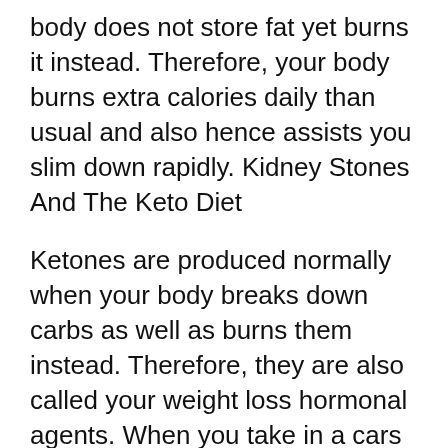body does not store fat yet burns it instead. Therefore, your body burns extra calories daily than usual and also hence assists you slim down rapidly. Kidney Stones And The Keto Diet
Ketones are produced normally when your body breaks down carbs as well as burns them instead. Therefore, they are also called your weight loss hormonal agents. When you take in a cars and truck, your ketone degrees raise and also this leads to faster burning fat. The type in this regard is to eat lots of protein as well as natural fibers, which aid you stay with your diet for longer. Kidney Stones And The Keto Diet
Kidney Stones And The Ket...